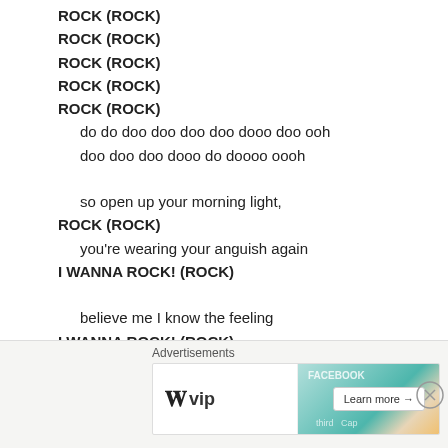ROCK (ROCK)
ROCK (ROCK)
ROCK (ROCK)
ROCK (ROCK)
ROCK (ROCK)
    do do doo doo doo doo dooo doo ooh
    doo doo doo dooo do doooo oooh

    so open up your morning light,
ROCK (ROCK)
    you're wearing your anguish again
I WANNA ROCK! (ROCK)

    believe me I know the feeling
I WANNA ROCK! (ROCK)

WHEN IT'S LIKE THIS I FEEL THE MUSIC SHOOTIN'
[Figure (screenshot): Advertisement banner with WordPress VIP logo and Facebook/Social media card imagery with a Learn more arrow button]